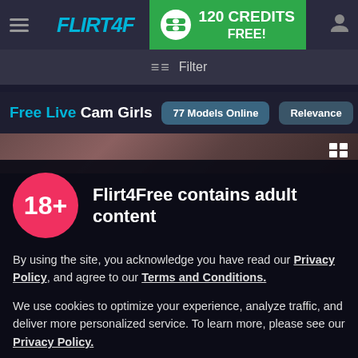[Figure (screenshot): Flirt4Free website navigation bar with hamburger menu, logo, 120 Credits Free banner, and user icon]
≡≡ Filter
Free Live Cam Girls  77 Models Online  Relevance
[Figure (photo): Dark blurred preview strip of a cam model]
18+
Flirt4Free contains adult content
By using the site, you acknowledge you have read our Privacy Policy, and agree to our Terms and Conditions.
We use cookies to optimize your experience, analyze traffic, and deliver more personalized service. To learn more, please see our Privacy Policy.
I AGREE